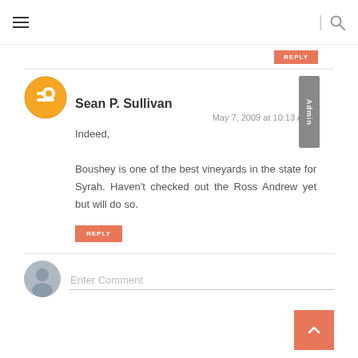Navigation header with hamburger menu and search icon
[Figure (logo): Blogger orange circle logo avatar icon]
Sean P. Sullivan
[Figure (infographic): Admin badge - grey vertical rectangle with text 'Admin']
May 7, 2009 at 10:13 AM
Indeed,

Boushey is one of the best vineyards in the state for Syrah. Haven't checked out the Ross Andrew yet but will do so.
REPLY
[Figure (illustration): Grey silhouette user avatar circle for comment input]
Enter Comment